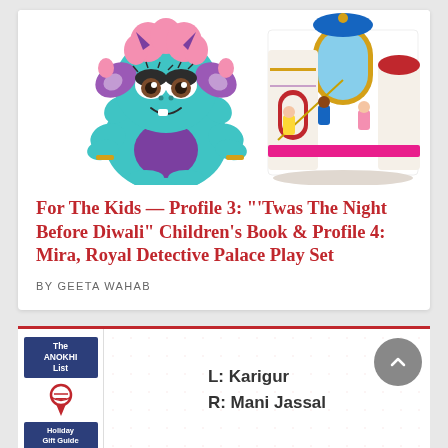[Figure (illustration): Cartoon teal fuzzy monster character with pink hair, purple ears, brown eyes, and gold bracelets (left); Mira Royal Detective colorful palace playset toy with figures (right)]
For The Kids — Profile 3: "'Twas The Night Before Diwali" Children's Book & Profile 4: Mira, Royal Detective Palace Play Set
BY GEETA WAHAB
[Figure (illustration): The ANOKHI List Holiday Gift Guide 2020 badge with red ribbon]
L: Karigur
R: Mani Jassal